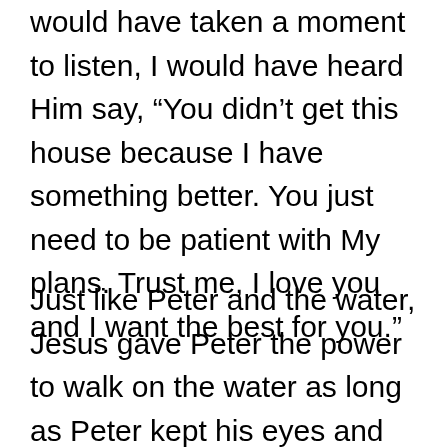would have taken a moment to listen, I would have heard Him say, “You didn’t get this house because I have something better. You just need to be patient with My plans. Trust me, I love you and I want the best for you.”
Just like Peter and the water, Jesus gave Peter the power to walk on the water as long as Peter kept his eyes and mind fixed on Jesus. God will never call you to do something without giving you the power to do it. God